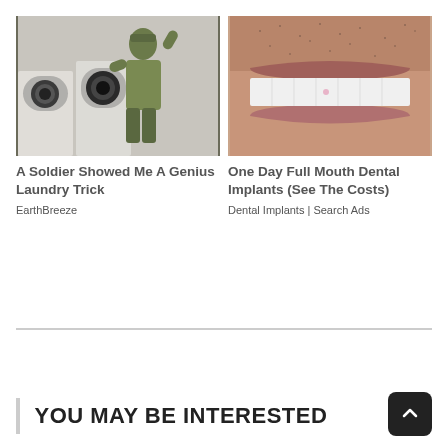[Figure (photo): A soldier in camouflage uniform bending over near white washing machines in a laundromat]
A Soldier Showed Me A Genius Laundry Trick
EarthBreeze
[Figure (photo): Close-up of a man's mouth showing white dental implants/veneers with stubble visible]
One Day Full Mouth Dental Implants (See The Costs)
Dental Implants | Search Ads
YOU MAY BE INTERESTED